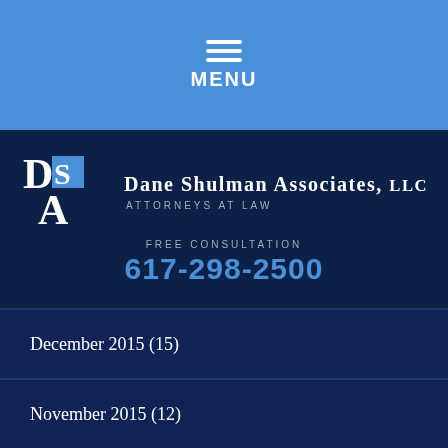MENU
[Figure (logo): DSA logo with letters D, S, A in a stacked arrangement with blue square accent]
Dane Shulman Associates, LLC
Attorneys at Law
FREE CONSULTATION
617-298-2500
December 2015 (15)
November 2015 (12)
October 2015 (13)
September 2015 (14)